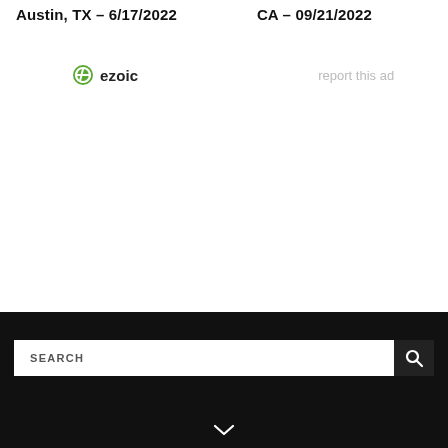Austin, TX – 6/17/2022
CA – 09/21/2022
[Figure (logo): Ezoic logo with green circular icon and 'ezoic' text in bold dark letters]
report this ad
SEARCH
Dark footer bar with search input